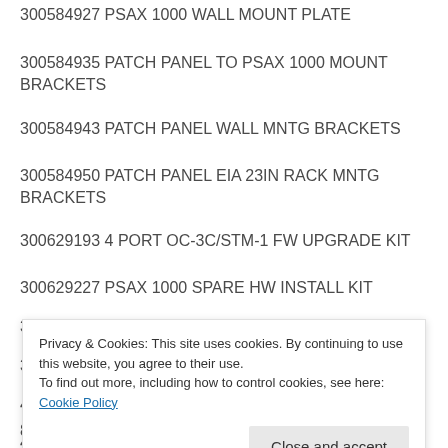300584927 PSAX 1000 WALL MOUNT PLATE
300584935 PATCH PANEL TO PSAX 1000 MOUNT BRACKETS
300584943 PATCH PANEL WALL MNTG BRACKETS
300584950 PATCH PANEL EIA 23IN RACK MNTG BRACKETS
300629193 4 PORT OC-3C/STM-1 FW UPGRADE KIT
300629227 PSAX 1000 SPARE HW INSTALL KIT
300629235 BLANK PANEL SPARE INSTALL KIT
300691888 PSAX 4500 STRATUM FW UPGRADE KIT
407850676 BLANK PSAX 1250 PS FACEPLATE
407852805 BLANK PSAX 1250 STRATUM 3 4
Privacy & Cookies: This site uses cookies. By continuing to use this website, you agree to their use.
To find out more, including how to control cookies, see here:
Cookie Policy
848979399 CABLE ASBY DMXTEND MISC